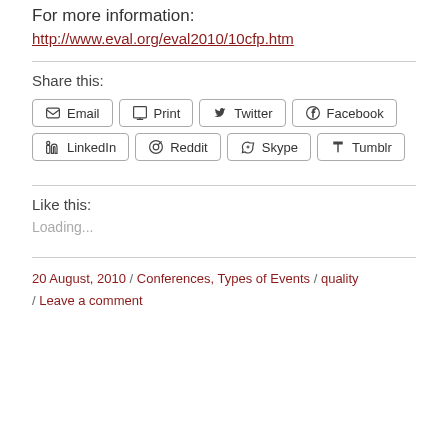For more information:
http://www.eval.org/eval2010/10cfp.htm
Share this:
Email  Print  Twitter  Facebook  LinkedIn  Reddit  Skype  Tumblr
Like this:
Loading...
20 August, 2010 / Conferences, Types of Events / quality / Leave a comment